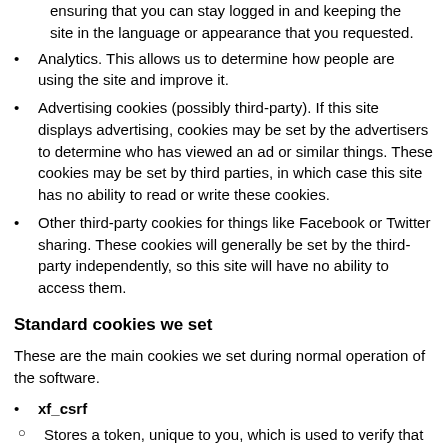ensuring that you can stay logged in and keeping the site in the language or appearance that you requested.
Analytics. This allows us to determine how people are using the site and improve it.
Advertising cookies (possibly third-party). If this site displays advertising, cookies may be set by the advertisers to determine who has viewed an ad or similar things. These cookies may be set by third parties, in which case this site has no ability to read or write these cookies.
Other third-party cookies for things like Facebook or Twitter sharing. These cookies will generally be set by the third-party independently, so this site will have no ability to access them.
Standard cookies we set
These are the main cookies we set during normal operation of the software.
xf_csrf
Stores a token, unique to you, which is used to verify that the actions you perform on this site were intended to be performed by you.
xf_session